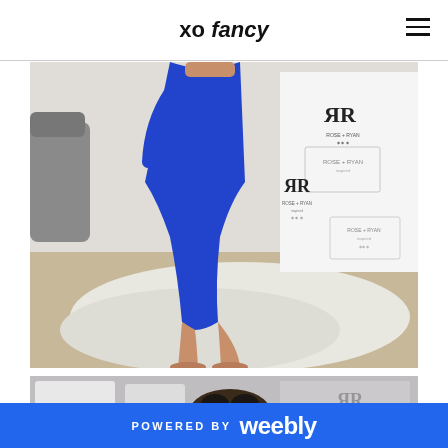xo fancy
[Figure (photo): Person wearing a royal blue short-sleeve midi dress, standing on a fluffy white rug. Background shows a white step-and-repeat backdrop with 'RR' logo branding.]
[Figure (photo): Partial view of a second photo showing accessories and branding elements, partially cut off at the bottom of the page.]
POWERED BY weebly